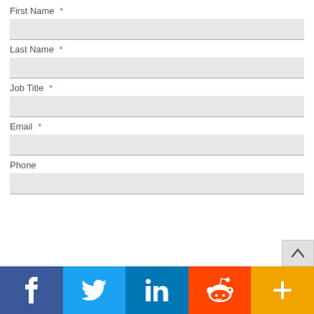First Name *
Last Name *
Job Title *
Email *
Phone
[Figure (screenshot): Social sharing bar at bottom with Facebook, Twitter, LinkedIn, Reddit, and More (+) buttons]